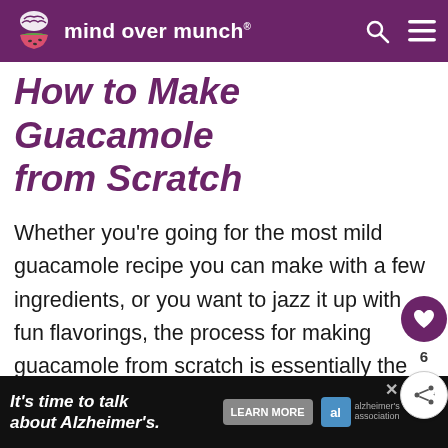mind over munch
How to Make Guacamole from Scratch
Whether you're going for the most mild guacamole recipe you can make with a few ingredients, or you want to jazz it up with fun flavorings, the process for making guacamole from scratch is essentially the same. Mash up your ripe avocados, season to taste with salt then mix in your lime juice, garlic, or other flavorings as desired.
It's time to talk about Alzheimer's. LEARN MORE